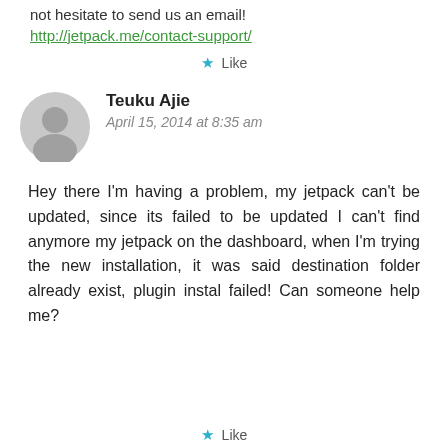not hesitate to send us an email! http://jetpack.me/contact-support/
★ Like
Teuku Ajie
April 15, 2014 at 8:35 am
Hey there I'm having a problem, my jetpack can't be updated, since its failed to be updated I can't find anymore my jetpack on the dashboard, when I'm trying the new installation, it was said destination folder already exist, plugin instal failed! Can someone help me?
★ Like